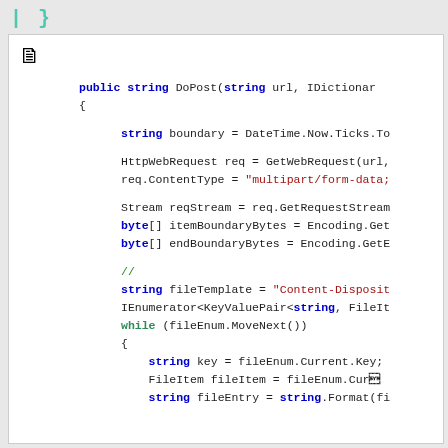| }
[Figure (screenshot): Code editor screenshot showing C# method DoPost with multipart form-data HTTP request handling, including boundary, stream, byte arrays, file template, enumerator, while loop, and file entry string formatting.]